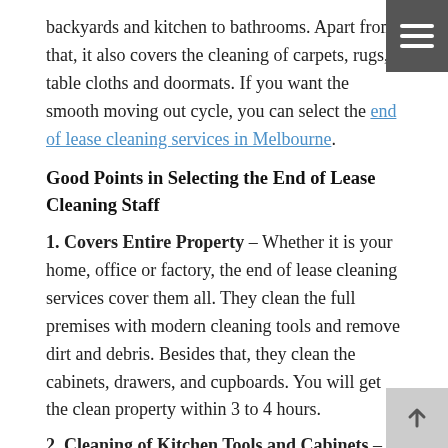backyards and kitchen to bathrooms. Apart from that, it also covers the cleaning of carpets, rugs, table cloths and doormats. If you want the smooth moving out cycle, you can select the end of lease cleaning services in Melbourne.
Good Points in Selecting the End of Lease Cleaning Staff
1. Covers Entire Property – Whether it is your home, office or factory, the end of lease cleaning services cover them all. They clean the full premises with modern cleaning tools and remove dirt and debris. Besides that, they clean the cabinets, drawers, and cupboards. You will get the clean property within 3 to 4 hours.
2. Cleaning of Kitchen Tools and Cabinets –
End of lease cleaning services offer cleaning of both residential and commercial kitchens. The excellent commercial canopy cleaners will remove bad odors, dirt and...